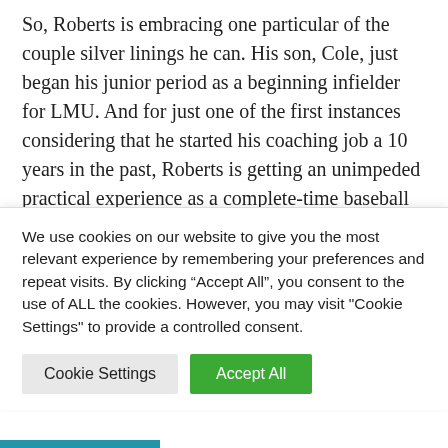So, Roberts is embracing one particular of the couple silver linings he can. His son, Cole, just began his junior period as a beginning infielder for LMU. And for just one of the first instances considering that he started his coaching job a 10 years in the past, Roberts is getting an unimpeded practical experience as a complete-time baseball father.

“It’s terrific,” Roberts explained. “Something for me I’ve tried to emphasis on, and I have described it at various
We use cookies on our website to give you the most relevant experience by remembering your preferences and repeat visits. By clicking “Accept All”, you consent to the use of ALL the cookies. However, you may visit "Cookie Settings" to provide a controlled consent.